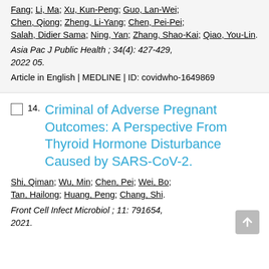Fang; Li, Ma; Xu, Kun-Peng; Guo, Lan-Wei; Chen, Qiong; Zheng, Li-Yang; Chen, Pei-Pei; Salah, Didier Sama; Ning, Yan; Zhang, Shao-Kai; Qiao, You-Lin.
Asia Pac J Public Health ; 34(4): 427-429, 2022 05.
Article in English | MEDLINE | ID: covidwho-1649869
Criminal of Adverse Pregnant Outcomes: A Perspective From Thyroid Hormone Disturbance Caused by SARS-CoV-2.
Shi, Qiman; Wu, Min; Chen, Pei; Wei, Bo; Tan, Hailong; Huang, Peng; Chang, Shi.
Front Cell Infect Microbiol ; 11: 791654, 2021.